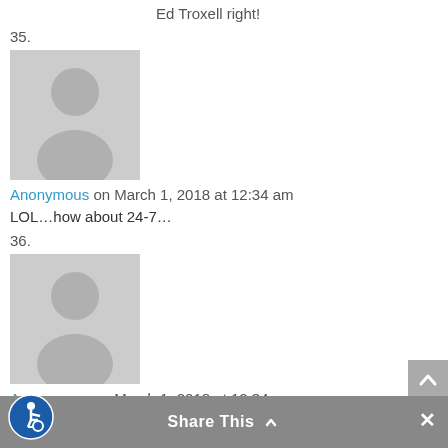Ed Troxell right!
35.
[Figure (illustration): Gray placeholder avatar icon for comment 35]
Anonymous on March 1, 2018 at 12:34 am
LOL…how about 24-7…
36.
[Figure (illustration): Gray placeholder avatar icon for comment 36]
Anonymous on March 1, 2018 at 12:34 am
“Like the news but better!” Yasssss!!! Slogan!!
37.
Share This ×